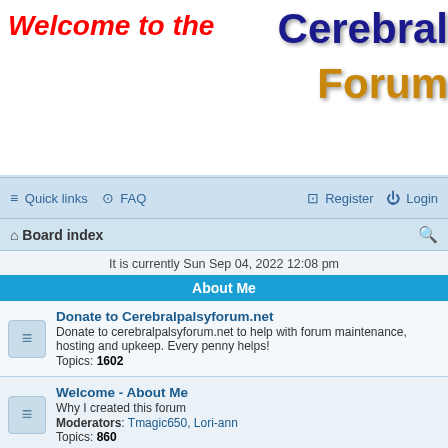[Figure (screenshot): Forum header banner with 'Welcome to the' in red italic script and 'Cerebral Forum' in blue/gold bold text on white background]
Quick links  FAQ  Register  Login
Board index
It is currently Sun Sep 04, 2022 12:08 pm
About Me
Donate to Cerebralpalsyforum.net
Donate to cerebralpalsyforum.net to help with forum maintenance, hosting and upkeep. Every penny helps!
Topics: 1602
Welcome - About Me
Why I created this forum
Moderators: Tmagic650, Lori-ann
Topics: 860
Useful Links
Useful links to other Cerebral Palsy resources.
Moderators: Tmagic650, Lori-ann
Topics: 858
Follow Us On Twitter
Follow Cerebral Palsy Forum on Twitter
Topics: 89